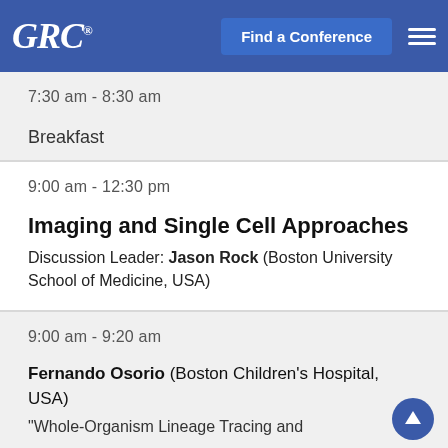GRC® | Find a Conference
7:30 am - 8:30 am
Breakfast
9:00 am - 12:30 pm
Imaging and Single Cell Approaches
Discussion Leader: Jason Rock (Boston University School of Medicine, USA)
9:00 am - 9:20 am
Fernando Osorio (Boston Children's Hospital, USA)
"Whole-Organism Lineage Tracing and